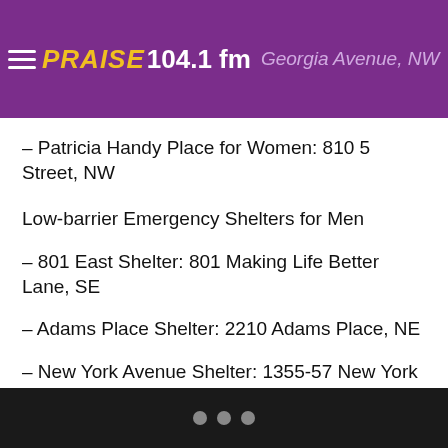PRAISE 104.1 fm  Georgia Avenue, NW
– Patricia Handy Place for Women: 810 5 Street, NW
Low-barrier Emergency Shelters for Men
– 801 East Shelter: 801 Making Life Better Lane, SE
– Adams Place Shelter: 2210 Adams Place, NE
– New York Avenue Shelter: 1355-57 New York Avenue, NE
Warming Centers And Facilities In The D.C. Area  was originally published on woldcnews.com
• • •